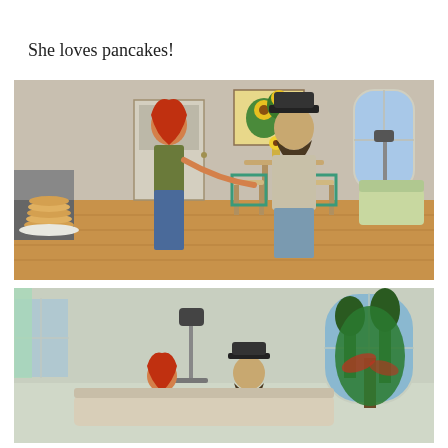She loves pancakes!
[Figure (screenshot): The Sims 4 screenshot showing a red-haired female sim and a bearded male sim wearing a black hat standing in a kitchen/dining area. A stack of pancakes is visible on the counter in the foreground. The room has wooden dining chairs with green seats, a sunflower painting, and sunflowers on the table.]
[Figure (screenshot): The Sims 4 screenshot showing the same red-haired female sim and bearded male sim (now in a red shirt) sitting together, with a large green plant, a floor lamp with black shade, and arched windows visible in the background.]